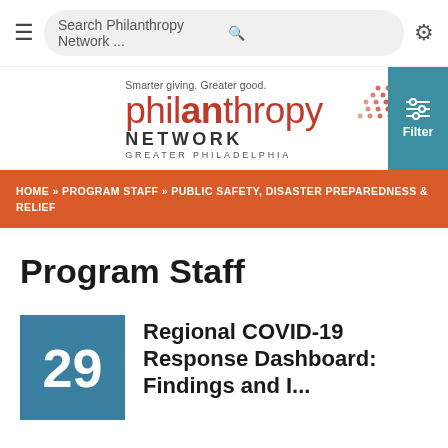≡  Search Philanthropy Network ...  🔍  ⚙
[Figure (logo): Philanthropy Network Greater Philadelphia logo with tagline 'Smarter giving. Greater good.' and red dot pattern decoration]
Filter
HOME » PROGRAM STAFF » PUBLIC SAFETY, DISASTER PREPAREDNESS & RELIEF
Program Staff
29
Regional COVID-19 Response Dashboard: Findings and I...